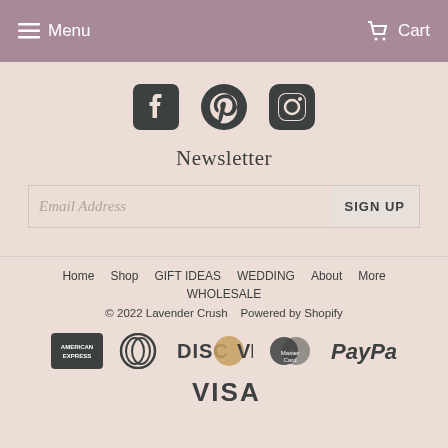Menu  Cart
[Figure (illustration): Social media icons: Facebook, Pinterest, Instagram]
Newsletter
Email Address   SIGN UP
Home  Shop  GIFT IDEAS  WEDDING  About  More
WHOLESALE
© 2022 Lavender Crush   Powered by Shopify
[Figure (illustration): Payment icons: American Express, Diners Club, Discover, MasterCard, PayPal, Visa]